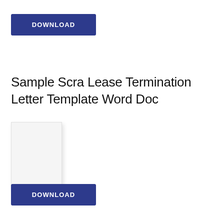[Figure (other): DOWNLOAD button — dark navy blue rectangle with white uppercase text]
Sample Scra Lease Termination Letter Template Word Doc
[Figure (other): Blank white document thumbnail with light border and drop shadow]
[Figure (other): DOWNLOAD button — dark navy blue rectangle with white uppercase text]